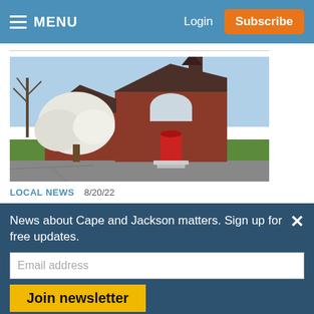MENU   Login   Subscribe
[Figure (photo): Exterior photo of First Christian Church in Charleston, a red brick building with white flowering tree in front, red doors, and a steeple.]
LOCAL NEWS   8/20/22
First Christian Church in Charleston has storied history
News about Cape and Jackson matters. Sign up for free updates.
Email address
Join newsletter